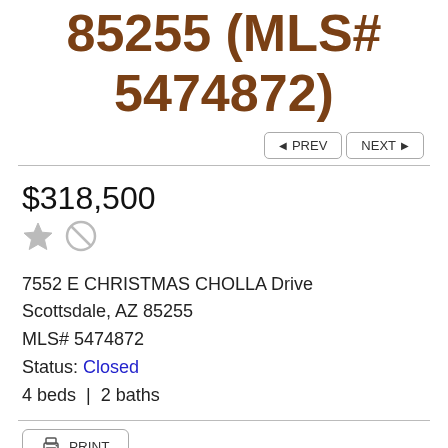85255 (MLS# 5474872)
PREV  NEXT
$318,500
7552 E CHRISTMAS CHOLLA Drive
Scottsdale, AZ 85255
MLS# 5474872
Status: Closed
4 beds  |  2 baths
PRINT